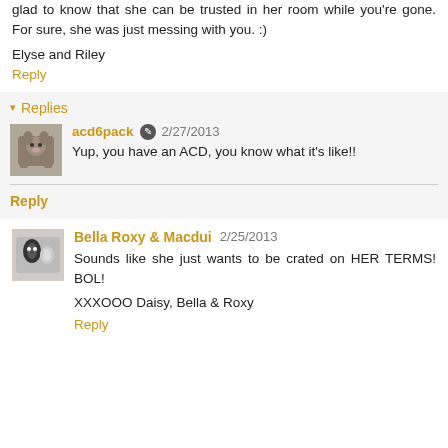glad to know that she can be trusted in her room while you're gone. For sure, she was just messing with you. :)
Elyse and Riley
Reply
▾ Replies
acd6pack  2/27/2013
Yup, you have an ACD, you know what it's like!!
Reply
Bella Roxy & Macdui  2/25/2013
Sounds like she just wants to be crated on HER TERMS! BOL!
XXXOOO Daisy, Bella & Roxy
Reply